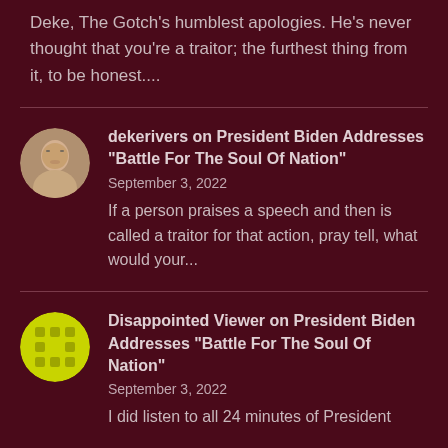Deke, The Gotch's humblest apologies. He's never thought that you're a traitor; the furthest thing from it, to be honest....
dekerivers on President Biden Addresses “Battle For The Soul Of Nation”
September 3, 2022
If a person praises a speech and then is called a traitor for that action, pray tell, what would your...
Disappointed Viewer on President Biden Addresses “Battle For The Soul Of Nation”
September 3, 2022
I did listen to all 24 minutes of President